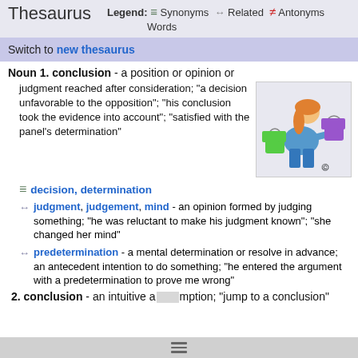Thesaurus   Legend: ≡ Synonyms ↔ Related ≠ Antonyms Words
Switch to new thesaurus
Noun 1. conclusion - a position or opinion or judgment reached after consideration; "a decision unfavorable to the opposition"; "his conclusion took the evidence into account"; "satisfied with the panel's determination"
[Figure (illustration): Cartoon illustration of a woman holding two shirts on hangers, one green and one purple]
≡ decision, determination
↔ judgment, judgement, mind - an opinion formed by judging something; "he was reluctant to make his judgment known"; "she changed her mind"
↔ predetermination - a mental determination or resolve in advance; an antecedent intention to do something; "he entered the argument with a predetermination to prove me wrong"
2. conclusion - an intuitive assumption; "jump to a conclusion"